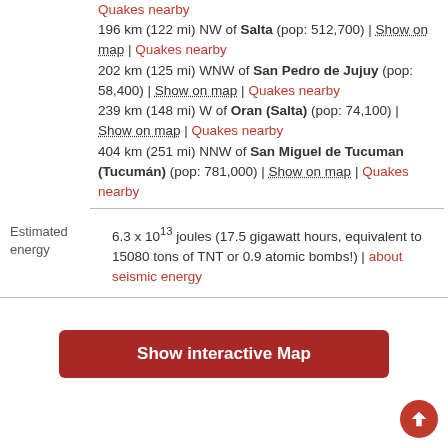Quakes nearby
196 km (122 mi) NW of Salta (pop: 512,700) | Show on map | Quakes nearby
202 km (125 mi) WNW of San Pedro de Jujuy (pop: 58,400) | Show on map | Quakes nearby
239 km (148 mi) W of Oran (Salta) (pop: 74,100) | Show on map | Quakes nearby
404 km (251 mi) NNW of San Miguel de Tucuman (Tucumán) (pop: 781,000) | Show on map | Quakes nearby
|  |  |
| --- | --- |
| Estimated energy | 6.3 x 10^13 joules (17.5 gigawatt hours, equivalent to 15080 tons of TNT or 0.9 atomic bombs!) | about seismic energy |
Show interactive Map